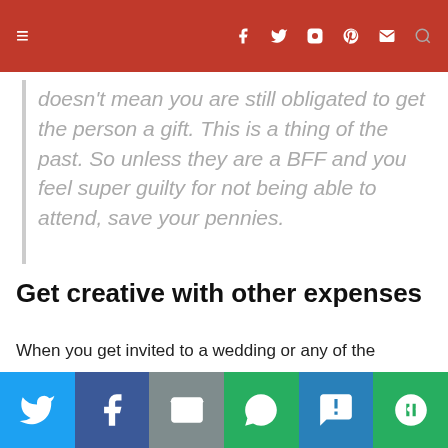Navigation bar with hamburger menu and social icons
doesn't mean you are still obligated to get the person a gift. This is a thing of the past. So unless they are a BFF and you feel super guilty for not being able to attend, save your pennies.
Get creative with other expenses
When you get invited to a wedding or any of the accompanying events, you'll also need to usually book accommodations, figure out transportation, potentially need to pay for your hair and makeup if you're in the wedding party
Share bar with Twitter, Facebook, Email, WhatsApp, SMS, More buttons